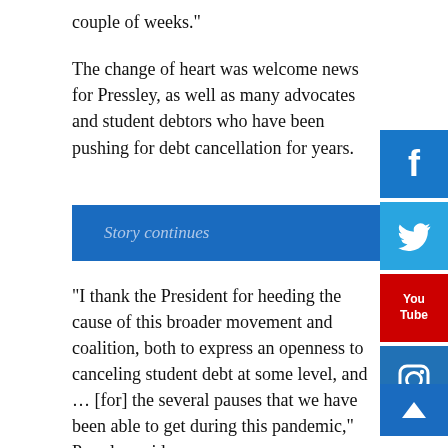couple of weeks.”
The change of heart was welcome news for Pressley, as well as many advocates and student debtors who have been pushing for debt cancellation for years.
Story continues
“I thank the President for heeding the cause of this broader movement and coalition, both to express an openness to canceling student debt at some level, and … [for] the several pauses that we have been able to get during this pandemic,” Pressley said.